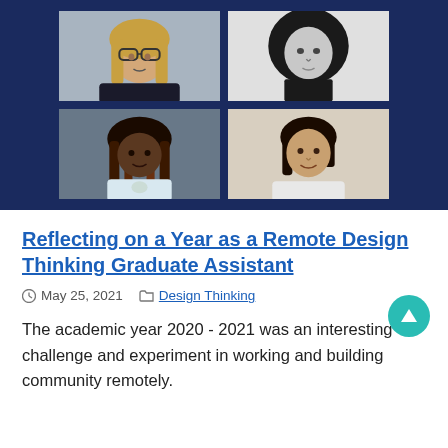[Figure (photo): Grid of four headshot photos of women on a dark navy blue background. Top-left: young woman with glasses and long blonde hair, color photo. Top-right: woman wearing hijab, black and white photo. Bottom-left: young Black woman with braids holding a small object, color photo. Bottom-right: woman smiling, color photo.]
Reflecting on a Year as a Remote Design Thinking Graduate Assistant
May 25, 2021    Design Thinking
The academic year 2020 - 2021 was an interesting challenge and experiment in working and building community remotely.